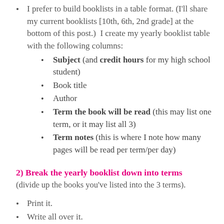I prefer to build booklists in a table format. (I'll share my current booklists [10th, 6th, 2nd grade] at the bottom of this post.)  I create my yearly booklist table with the following columns:
Subject (and credit hours for my high school student)
Book title
Author
Term the book will be read (this may list one term, or it may list all 3)
Term notes (this is where I note how many pages will be read per term/per day)
2) Break the yearly booklist down into terms
(divide up the books you’ve listed into the 3 terms).
Print it.
Write all over it.
Look at the books if you already have them